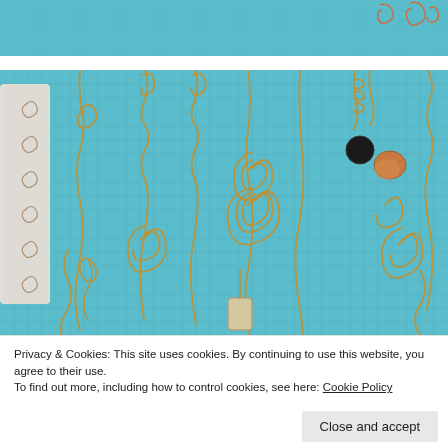[Figure (photo): Partial view of wire jewelry or craft items on a blue textured mat — copper/gold wire spirals and hooks visible at the top edge.]
[Figure (photo): Wire jewelry craft items laid on a blue grid cutting mat: various copper/gold wire bookmarks or ornaments with spiral tops, S-hooks, and dangling beads.]
Privacy & Cookies: This site uses cookies. By continuing to use this website, you agree to their use.
To find out more, including how to control cookies, see here: Cookie Policy
Close and accept